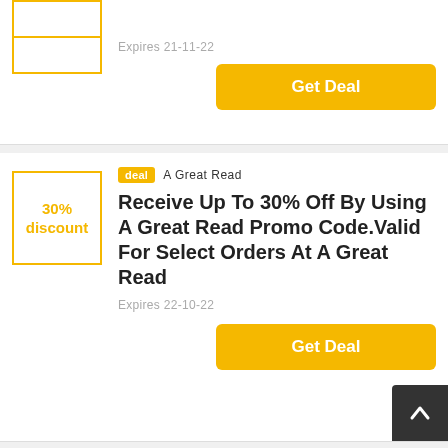Expires 21-11-22
Get Deal
deal  A Great Read
Receive Up To 30% Off By Using A Great Read Promo Code.Valid For Select Orders At A Great Read
Expires 22-10-22
Get Deal
deal  A Great Read
Free P&p On A Great Read